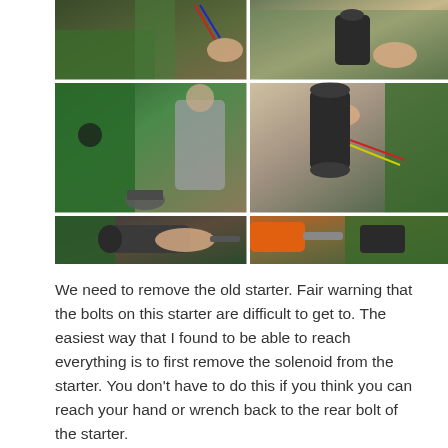[Figure (photo): Six-panel photo grid showing the process of removing an old starter motor from a green tractor (John Deere). Top row: two photos showing wiring and hands working on engine components. Middle row: person crouching beside the tractor with starter visible, and close-up of hand holding new starter motor. Bottom row: hands working a screwdriver on the starter motor, and orange power drill being used to remove bolts near the starter.]
We need to remove the old starter. Fair warning that the bolts on this starter are difficult to get to. The easiest way that I found to be able to reach everything is to first remove the solenoid from the starter. You don't have to do this if you think you can reach your hand or wrench back to the rear bolt of the starter.